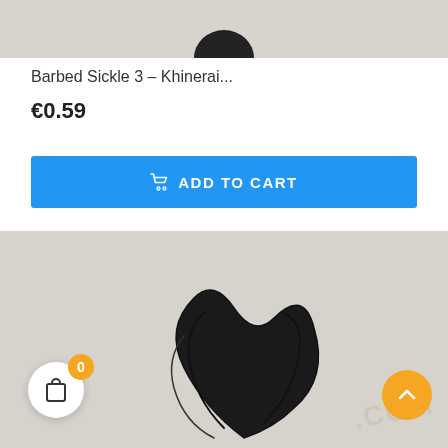[Figure (photo): Top portion of a product photo on light gray background, showing a partial dark object (product image cut off at top)]
Barbed Sickle 3 – Khinerai...
€0.59
ADD TO CART
[Figure (photo): Product photo on light gray background showing dark curved sickle/claw shaped miniature piece with a watermark reading .COM in the bottom right corner. Cart icon with badge showing 0 in bottom left, orange scroll-to-top button in bottom right.]